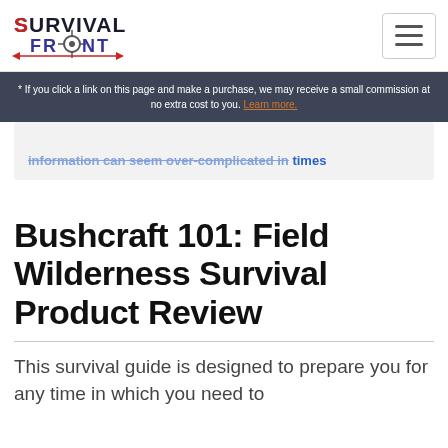SURVIVAL FRONT [logo] [hamburger menu]
* If you click a link on this page and make a purchase, we may receive a small commission at no extra cost to you. Learn more.
...information can seem over-complicated in times
Bushcraft 101: Field Wilderness Survival Product Review
This survival guide is designed to prepare you for any time in which you need to